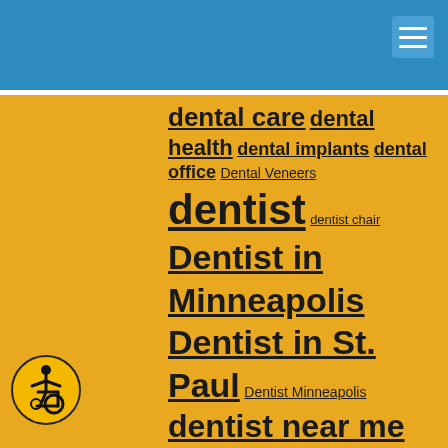dental care dental health dental implants dental office Dental Veneers dentist dentist chair Dentist in Minneapolis Dentist in St. Paul Dentist Minneapolis dentist near me dentistry dentistry near me dentistry St Paul MN Dentist St. Paul dentist st paul mn dentures family dentist gum disease Hagerman Dental Care healthy teeth Invisalign oral
[Figure (logo): Accessibility icon — yellow circle with wheelchair user symbol in black]